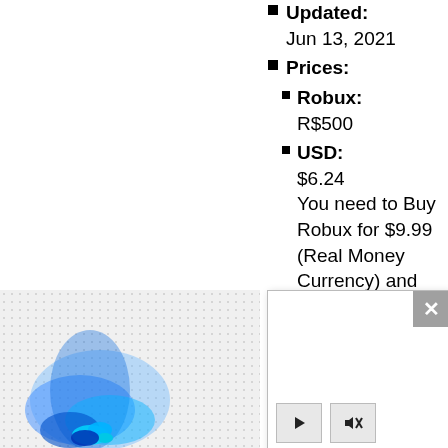Updated: Jun 13, 2021
Prices:
Robux: R$500
USD: $6.24 You need to Buy Robux for $9.99 (Real Money Currency) and you gonna get EXTRA Robux R$80
[Figure (screenshot): White modal/popup overlay with close button (X) in top-right corner, play button and mute button controls at bottom-left, overlaid on a blue abstract image in the bottom-left area of the page]
Robux R$80